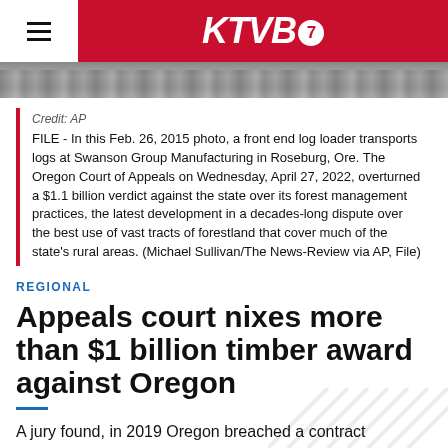KTVB7
[Figure (photo): A front end log loader at Swanson Group Manufacturing in Roseburg, Oregon — image strip/banner]
Credit: AP
FILE - In this Feb. 26, 2015 photo, a front end log loader transports logs at Swanson Group Manufacturing in Roseburg, Ore. The Oregon Court of Appeals on Wednesday, April 27, 2022, overturned a $1.1 billion verdict against the state over its forest management practices, the latest development in a decades-long dispute over the best use of vast tracts of forestland that cover much of the state's rural areas. (Michael Sullivan/The News-Review via AP, File)
REGIONAL
Appeals court nixes more than $1 billion timber award against Oregon
A jury found, in 2019 Oregon breached a contract